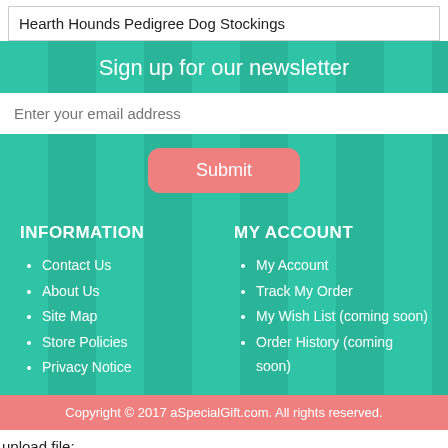Hearth Hounds Pedigree Dog Stockings
Sign up for our newsletter
Enter your email address
Submit
INFORMATION
Contact Us
About Us
Site Map
Store Policies
Privacy Notice
MY ACCOUNT
My Account
Track My Order
My Wish List (coming soon)
Order History (coming soon)
Copyright © 2017 aSpecialGift.com. All rights reserved.
upload file:
upload fileb: